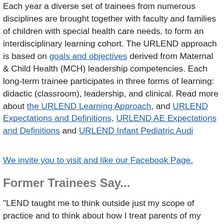Each year a diverse set of trainees from numerous disciplines are brought together with faculty and families of children with special health care needs, to form an interdisciplinary learning cohort. The URLEND approach is based on goals and objectives derived from Maternal & Child Health (MCH) leadership competencies. Each long-term trainee participates in three forms of learning: didactic (classroom), leadership, and clinical. Read more about the URLEND Learning Approach, and URLEND Expectations and Definitions, URLEND AE Expectations and Definitions and URLEND Infant Pediatric Audi
We invite you to visit and like our Facebook Page.
Former Trainees Say...
"LEND taught me to think outside just my scope of practice and to think about how I treat parents of my patients and the life de without just junk ping to what I think is best for them based or
"LEND engrained in me the need to make appropriate referrals